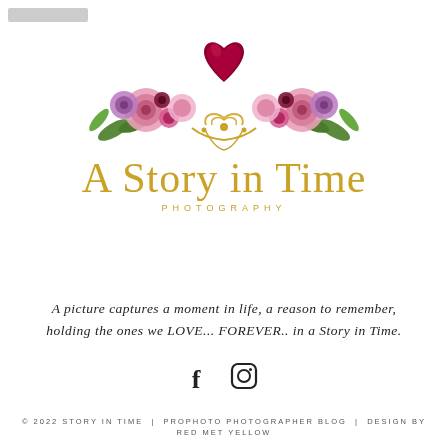[Figure (logo): A Story in Time Photography logo with a dark red heart at the top, flanked by colorful floral arrangements (pinks, purples, greens) on a gold ornamental base, with script text 'A Story in Time' in gold below and 'PHOTOGRAPHY' in spaced gold capitals beneath]
A picture captures a moment in life, a reason to remember, holding the ones we LOVE... FOREVER.. in a Story in Time.
[Figure (illustration): Social media icons: Facebook (f) and Instagram camera icon, in dark color]
© 2022 STORY IN TIME | PROPHOTO PHOTOGRAPHER BLOG | DESIGN BY RED MET YELLOW